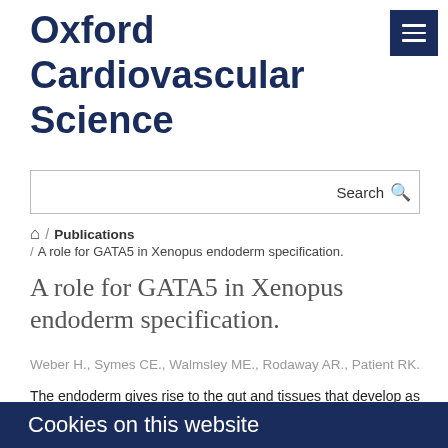Oxford Cardiovascular Science
Search
🏠 / Publications / A role for GATA5 in Xenopus endoderm specification.
A role for GATA5 in Xenopus endoderm specification.
Weber H., Symes CE., Walmsley ME., Rodaway AR., Patient RK.
The endoderm gives rise to the gut and tissues that develop as outgrowths of the gut tube, including the lungs, liver and pancreas. Here we show that GATA5, a zinc-finger
Cookies on this website